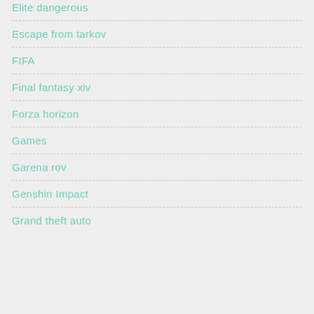Elite dangerous
Escape from tarkov
FIFA
Final fantasy xiv
Forza horizon
Games
Garena rov
Genshin Impact
Grand theft auto